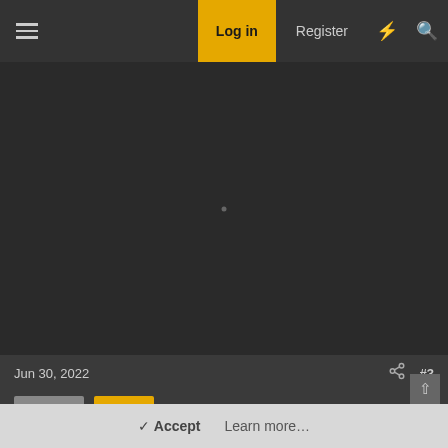Log in | Register
[Figure (screenshot): Dark background area representing a forum post content area with a small loading indicator dot in the center]
Jun 30, 2022  #3
This site uses cookies to help personalise content, tailor your experience and to keep you logged in if you register.
By continuing to use this site, you are consenting to our use of cookies.
✓ Accept   Learn more…